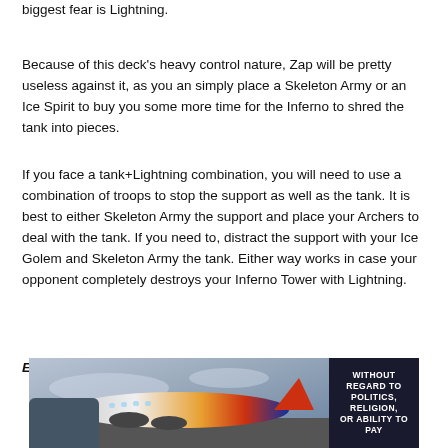biggest fear is Lightning.
Because of this deck's heavy control nature, Zap will be pretty useless against it, as you an simply place a Skeleton Army or an Ice Spirit to buy you some more time for the Inferno to shred the tank into pieces.
If you face a tank+Lightning combination, you will need to use a combination of troops to stop the support as well as the tank. It is best to either Skeleton Army the support and place your Archers to deal with the tank. If you need to, distract the support with your Ice Golem and Skeleton Army the tank. Either way works in case your opponent completely destroys your Inferno Tower with Lightning.
Elixir Collector: The most important card in this game
[Figure (photo): Advertisement banner showing an airplane being loaded with cargo, with a dark box reading WITHOUT REGARD TO POLITICS, RELIGION, OR ABILITY TO PAY]